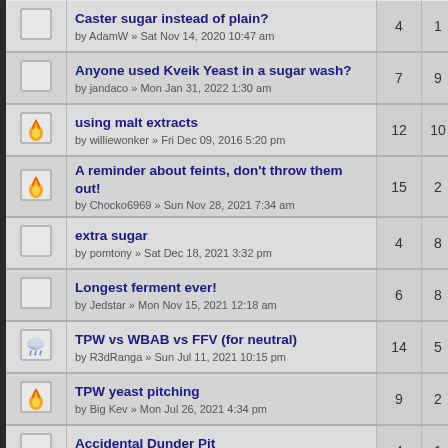| Icon | Topic / Author | Replies | Views |
| --- | --- | --- | --- |
|  | Caster sugar instead of plain?
by AdamW » Sat Nov 14, 2020 10:47 am | 4 | 1 |
|  | Anyone used Kveik Yeast in a sugar wash?
by jandaco » Mon Jan 31, 2022 1:30 am | 7 | 9 |
| flame | using malt extracts
by williewonker » Fri Dec 09, 2016 5:20 pm | 12 | 10 |
| flame | A reminder about feints, don't throw them out!
by Chocko6969 » Sun Nov 28, 2021 7:34 am | 15 | 2 |
|  | extra sugar
by pomtony » Sat Dec 18, 2021 3:32 pm | 4 | 8 |
|  | Longest ferment ever!
by Jedstar » Mon Nov 15, 2021 12:18 am | 6 | 8 |
| rain | TPW vs WBAB vs FFV (for neutral)
by R3dRanga » Sun Jul 11, 2021 10:15 pm | 14 | 5 |
| flame | TPW yeast pitching
by Big Kev » Mon Jul 26, 2021 4:34 pm | 9 | 2 |
|  | Accidental Dunder Pit
by BigRig » Fri May 21, 2021 8:22 am | 4 | 1 |
| flame | Turbo 500 First Run
by McMoonshineMatt » Tue May 11, 2021 10:57 am | 16 | 3 |
| flame | Tpw too hot
by Marbaker1 » Sun Jan 10, 2021 8:49 am | 22 | 6 |